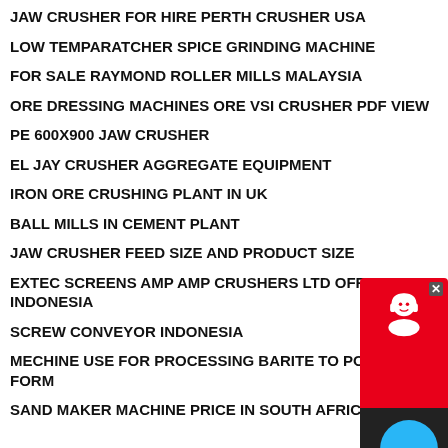JAW CRUSHER FOR HIRE PERTH CRUSHER USA
LOW TEMPARATCHER SPICE GRINDING MACHINE
FOR SALE RAYMOND ROLLER MILLS MALAYSIA
ORE DRESSING MACHINES ORE VSI CRUSHER PDF VIEW
PE 600X900 JAW CRUSHER
EL JAY CRUSHER AGGREGATE EQUIPMENT
IRON ORE CRUSHING PLANT IN UK
BALL MILLS IN CEMENT PLANT
JAW CRUSHER FEED SIZE AND PRODUCT SIZE
EXTEC SCREENS AMP AMP CRUSHERS LTD OFFICE A INDONESIA
SCREW CONVEYOR INDONESIA
MECHINE USE FOR PROCESSING BARITE TO POWDER FORM
SAND MAKER MACHINE PRICE IN SOUTH AFRICA
[Figure (infographic): Red and dark chat widget with headphone icon and Chat Now text, plus a blue circular chat bubble button]